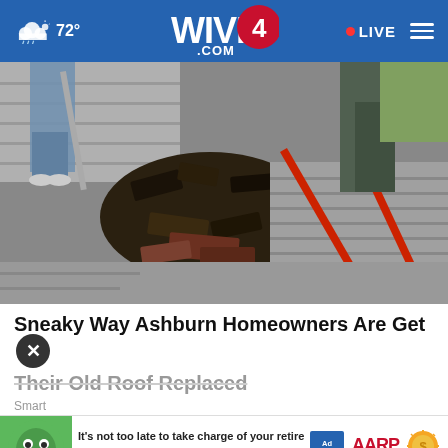WIVB4.COM | 72° | LIVE
[Figure (photo): Workers tearing up old roof shingles on a residential roof, showing deteriorated and damaged roofing materials being removed with tools]
Sneaky Way Ashburn Homeowners Are Getting Their Old Roof Replaced
Smart...
[Figure (infographic): AARP advertisement banner: 'It's not too late to take charge of your retirement. Get your top 3 tips →' with Ad Council and AARP logos and green mascot character]